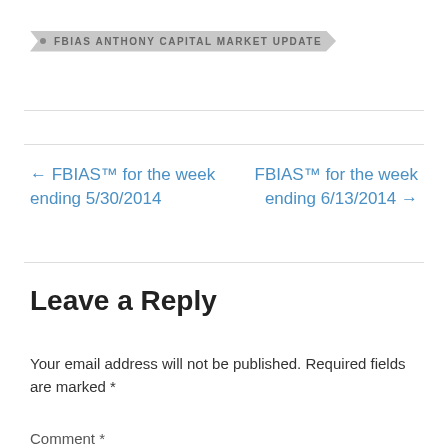FBIAS ANTHONY CAPITAL MARKET UPDATE
← FBIAS™ for the week ending 5/30/2014
FBIAS™ for the week ending 6/13/2014 →
Leave a Reply
Your email address will not be published. Required fields are marked *
Comment *